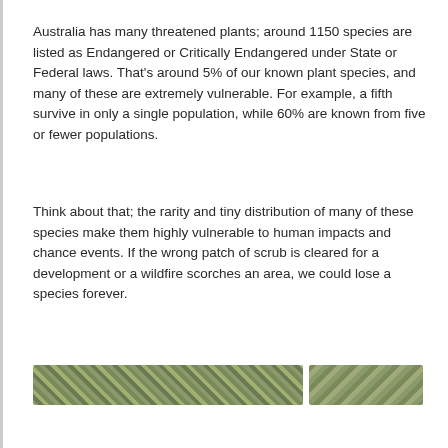Australia has many threatened plants; around 1150 species are listed as Endangered or Critically Endangered under State or Federal laws. That's around 5% of our known plant species, and many of these are extremely vulnerable. For example, a fifth survive in only a single population, while 60% are known from five or fewer populations.
Think about that; the rarity and tiny distribution of many of these species make them highly vulnerable to human impacts and chance events. If the wrong patch of scrub is cleared for a development or a wildfire scorches an area, we could lose a species forever.
[Figure (photo): A horizontal strip showing two segments of vegetation/foliage photographs, depicting plant or scrub coverage.]